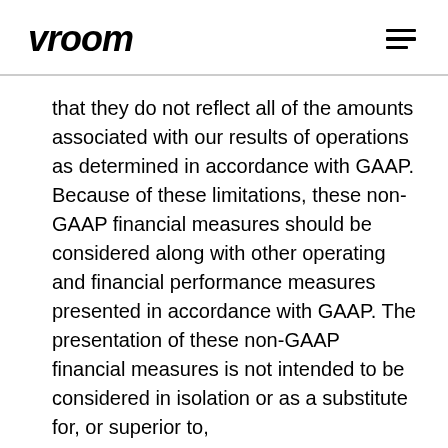vroom
that they do not reflect all of the amounts associated with our results of operations as determined in accordance with GAAP. Because of these limitations, these non-GAAP financial measures should be considered along with other operating and financial performance measures presented in accordance with GAAP. The presentation of these non-GAAP financial measures is not intended to be considered in isolation or as a substitute for, or superior to,